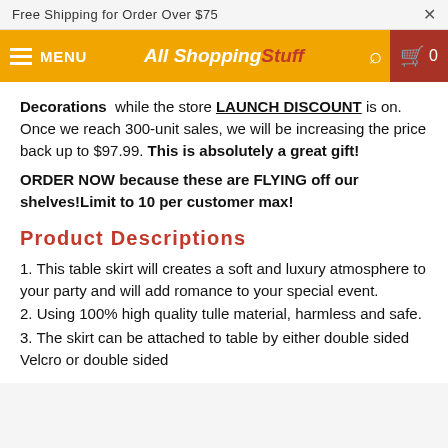Free Shipping for Order Over $75
[Figure (screenshot): Navigation bar with hamburger menu, MENU text, AllShoppingStuff logo, search icon, and cart icon with 0 count]
Decorations while the store LAUNCH DISCOUNT is on. Once we reach 300-unit sales, we will be increasing the price back up to $97.99. This is absolutely a great gift!
ORDER NOW because these are FLYING off our shelves!Limit to 10 per customer max!
Product Descriptions
1. This table skirt will creates a soft and luxury atmosphere to your party and will add romance to your special event.
2. Using 100% high quality tulle material, harmless and safe.
3. The skirt can be attached to table by either double sided Velcro or double sided